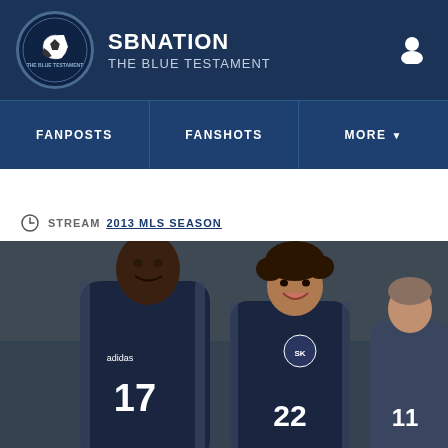SBNation — The Blue Testament
FANPOSTS | FANSHOTS | MORE
STREAM 2013 MLS SEASON
[Figure (photo): Two Sporting KC soccer players wearing navy blue jerseys with numbers 17 and 22 celebrating together on the field, with a third player (number 11) visible in the background]